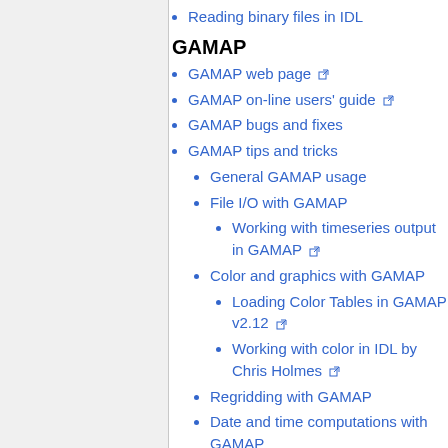Reading binary files in IDL
GAMAP
GAMAP web page
GAMAP on-line users' guide
GAMAP bugs and fixes
GAMAP tips and tricks
General GAMAP usage
File I/O with GAMAP
Working with timeseries output in GAMAP
Color and graphics with GAMAP
Loading Color Tables in GAMAP v2.12
Working with color in IDL by Chris Holmes
Regridding with GAMAP
Date and time computations with GAMAP
Text manipulation with GAMAP